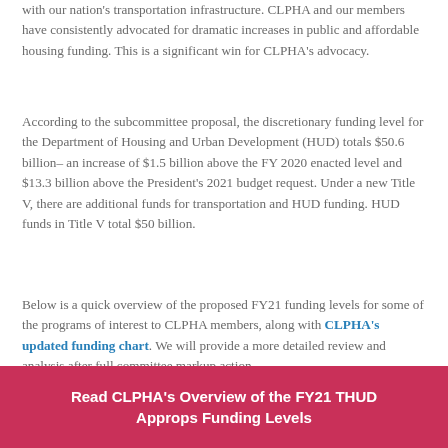with our nation's transportation infrastructure. CLPHA and our members have consistently advocated for dramatic increases in public and affordable housing funding. This is a significant win for CLPHA's advocacy.
According to the subcommittee proposal, the discretionary funding level for the Department of Housing and Urban Development (HUD) totals $50.6 billion– an increase of $1.5 billion above the FY 2020 enacted level and $13.3 billion above the President's 2021 budget request. Under a new Title V, there are additional funds for transportation and HUD funding. HUD funds in Title V total $50 billion.
Below is a quick overview of the proposed FY21 funding levels for some of the programs of interest to CLPHA members, along with CLPHA's updated funding chart. We will provide a more detailed review and analysis after full committee markup action.
Read CLPHA's Overview of the FY21 THUD Approps Funding Levels